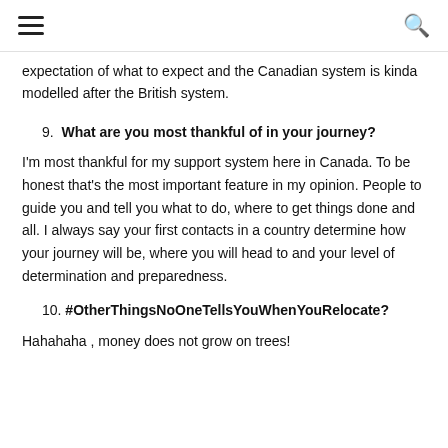≡  🔍
expectation of what to expect and the Canadian system is kinda modelled after the British system.
9. What are you most thankful of in your journey?
I'm most thankful for my support system here in Canada. To be honest that's the most important feature in my opinion. People to guide you and tell you what to do, where to get things done and all. I always say your first contacts in a country determine how your journey will be, where you will head to and your level of determination and preparedness.
10. #OtherThingsNoOneTellsYouWhenYouRelocate?
Hahahaha , money does not grow on trees!